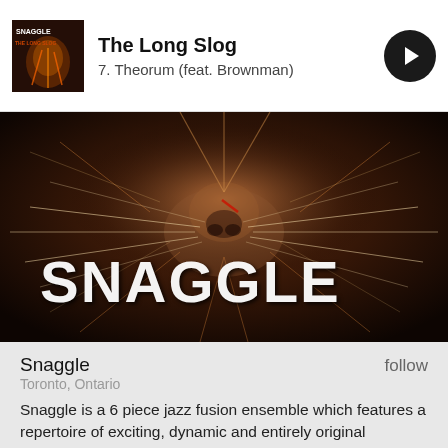The Long Slog
7. Theorum (feat. Brownman)
[Figure (illustration): Album art and band image: a glowing fractal tiger face with white stylized 'SNAGGLE' text overlaid, dark moody background with orange and brown tones]
Snaggle
follow
Toronto, Ontario
Snaggle is a 6 piece jazz fusion ensemble which features a repertoire of exciting, dynamic and entirely original material. This all-star line up of players,